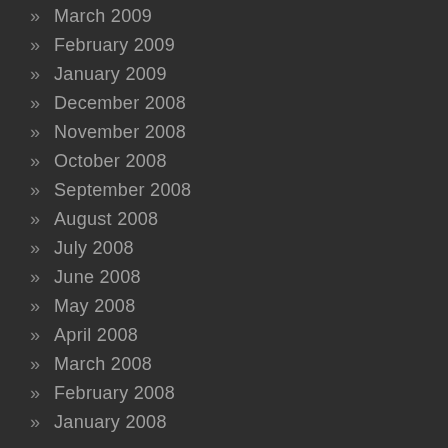» March 2009
» February 2009
» January 2009
» December 2008
» November 2008
» October 2008
» September 2008
» August 2008
» July 2008
» June 2008
» May 2008
» April 2008
» March 2008
» February 2008
» January 2008